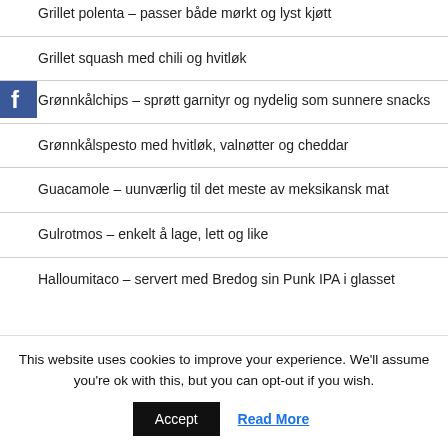Grillet polenta – passer både mørkt og lyst kjøtt
Grillet squash med chili og hvitløk
Grønnkålchips – sprøtt garnityr og nydelig som sunnere snacks
Grønnkålspesto med hvitløk, valnøtter og cheddar
Guacamole – uunværlig til det meste av meksikansk mat
Gulrotmos – enkelt å lage, lett og like
Halloumitaco – servert med Bredog sin Punk IPA i glasset
Hummus – puré av kikærter fra midtøsten
This website uses cookies to improve your experience. We'll assume you're ok with this, but you can opt-out if you wish.
Accept | Read More